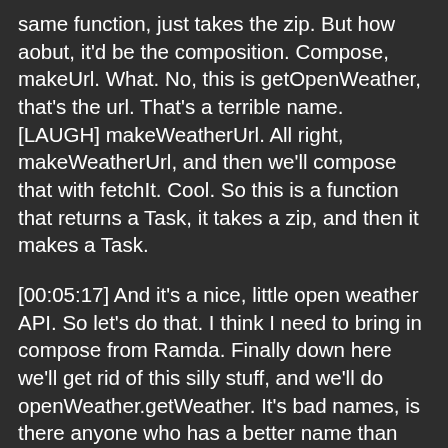same function, just takes the zip. But how aobut, it'd be the composition. Compose, makeUrl. What. No, this is getOpenWeather, that's the url. That's a terrible name. [LAUGH] makeWeatherUrl. All right, makeWeatherUrl, and then we'll compose that with fetchIt. Cool. So this is a function that returns a Task, it takes a zip, and then it makes a Task.
[00:05:17] And it's a nice, little open weather API. So let's do that. I think I need to bring in compose from Ramda. Finally down here we'll get rid of this silly stuff, and we'll do openWeather.getWeather. It's bad names, is there anyone who has a better name than that? It's like, openWeather and getWeather's a silly thing.
[00:05:41] But, let's see what happens-.
>> With fecth